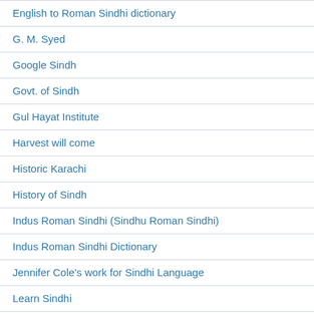English to Roman Sindhi dictionary
G. M. Syed
Google Sindh
Govt. of Sindh
Gul Hayat Institute
Harvest will come
Historic Karachi
History of Sindh
Indus Roman Sindhi (Sindhu Roman Sindhi)
Indus Roman Sindhi Dictionary
Jennifer Cole's work for Sindhi Language
Learn Sindhi